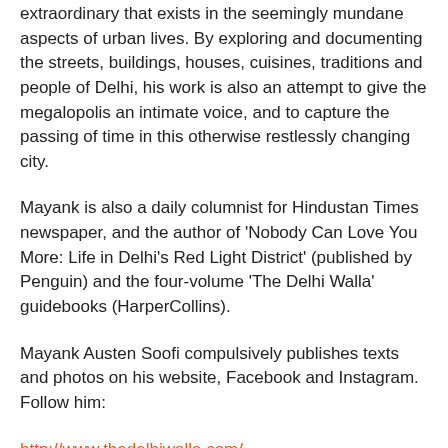extraordinary that exists in the seemingly mundane aspects of urban lives. By exploring and documenting the streets, buildings, houses, cuisines, traditions and people of Delhi, his work is also an attempt to give the megalopolis an intimate voice, and to capture the passing of time in this otherwise restlessly changing city.
Mayank is also a daily columnist for Hindustan Times newspaper, and the author of 'Nobody Can Love You More: Life in Delhi's Red Light District' (published by Penguin) and the four-volume 'The Delhi Walla' guidebooks (HarperCollins).
Mayank Austen Soofi compulsively publishes texts and photos on his website, Facebook and Instagram. Follow him:
http://www.thedelhiwalla.com/
https://www.instagram.com/thedelhiwalla/